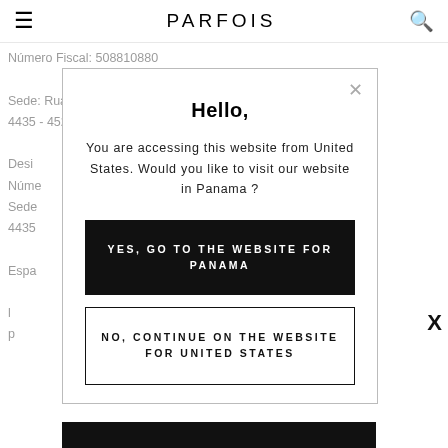≡  PARFOIS  🔍
Número Fiscal: 508810880

Sede: Rua de Sistelo, 755 - Lugar de Santegãos
4435 - 452, Rio Tinto

Desi
Núme
Sede
4435
Espa
l
p
Hello,
You are accessing this website from United States. Would you like to visit our website in Panama ?
YES, GO TO THE WEBSITE FOR PANAMA
NO, CONTINUE ON THE WEBSITE FOR UNITED STATES